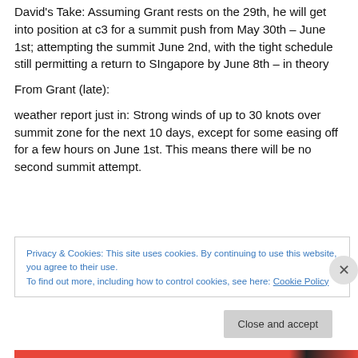David's Take: Assuming Grant rests on the 29th, he will get into position at c3 for a summit push from May 30th – June 1st; attempting the summit June 2nd, with the tight schedule still permitting a return to SIngapore by June 8th – in theory
From Grant (late):
weather report just in: Strong winds of up to 30 knots over summit zone for the next 10 days, except for some easing off for a few hours on June 1st. This means there will be no second summit attempt.
Privacy & Cookies: This site uses cookies. By continuing to use this website, you agree to their use. To find out more, including how to control cookies, see here: Cookie Policy
Close and accept